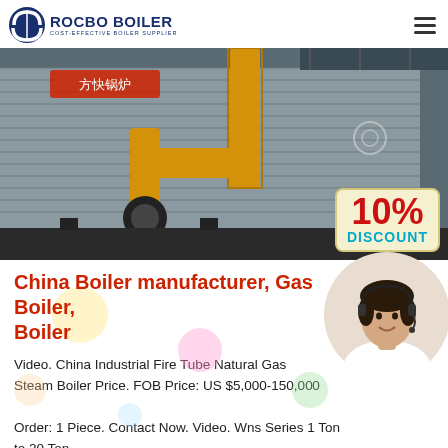ROCBO BOILER - COST-EFFECTIVE BOILER SUPPLIER
[Figure (photo): Industrial gas boiler with yellow pipes and corrugated metal casing, with a 10% DISCOUNT badge overlay]
China Boiler manufacturer, Gas Boiler, Biomass Boiler
Video. China Industrial Fire Tube Natural Gas Steam Boiler Price. FOB Price: US $5,000-150,000 / Order: 1 Piece. Contact Now. Video. Wns Series 1 Ton to 20 Ton